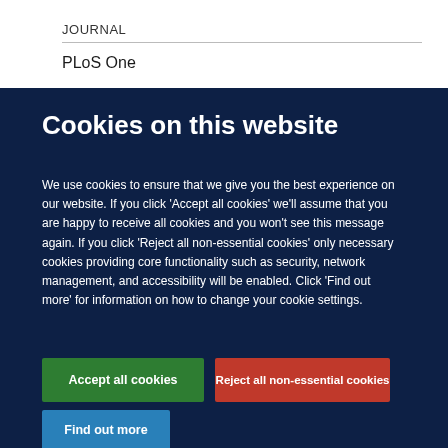JOURNAL
PLoS One
Cookies on this website
We use cookies to ensure that we give you the best experience on our website. If you click 'Accept all cookies' we'll assume that you are happy to receive all cookies and you won't see this message again. If you click 'Reject all non-essential cookies' only necessary cookies providing core functionality such as security, network management, and accessibility will be enabled. Click 'Find out more' for information on how to change your cookie settings.
Accept all cookies
Reject all non-essential cookies
Find out more